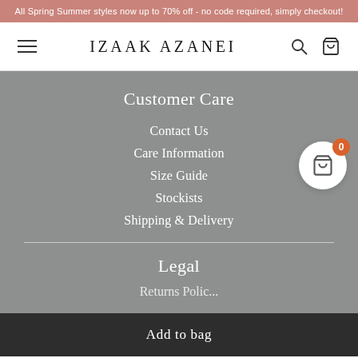All Spring Summer styles now up to 70% off - no code required, simply checkout!
IZAAK AZANEI
Customer Care
Contact Us
Care Information
Size Guide
Stockists
Shipping & Delivery
Legal
Returns Polic...
Add to bag